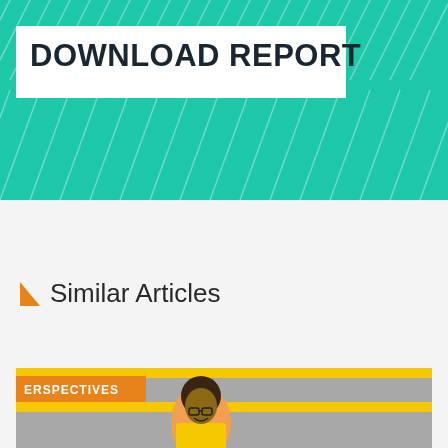[Figure (illustration): Teal/turquoise banner with white diagonal line pattern and white box containing 'DOWNLOAD REPORT' text in dark bold font]
DOWNLOAD REPORT
Similar Articles
[Figure (photo): Photo of a smiling young Black man wearing glasses and a yellow shirt, seated against a wall with yellow horizontal stripes. An orange 'PERSPECTIVES' tag is visible in the top-left corner of the image.]